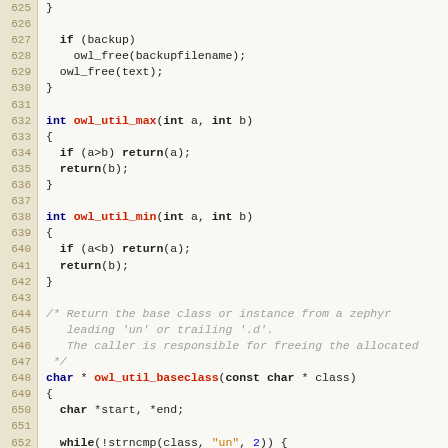[Figure (screenshot): Source code listing in C showing functions owl_util_max, owl_util_min, and owl_util_baseclass with syntax highlighting. Line numbers 625-655 visible.]